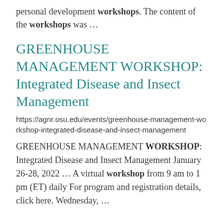personal development workshops. The content of the workshops was ...
GREENHOUSE MANAGEMENT WORKSHOP: Integrated Disease and Insect Management
https://agnr.osu.edu/events/greenhouse-management-workshop-integrated-disease-and-insect-management
GREENHOUSE MANAGEMENT WORKSHOP: Integrated Disease and Insect Management January 26-28, 2022 ... A virtual workshop from 9 am to 1 pm (ET) daily For program and registration details, click here. Wednesday, ...